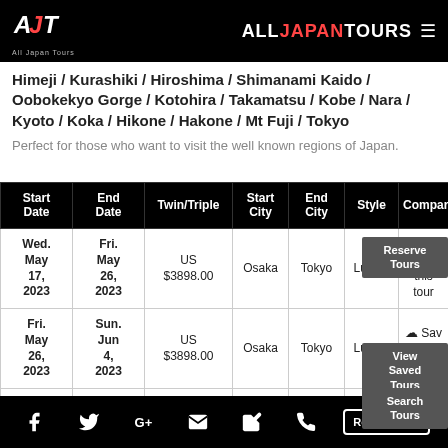AJT All Japan Tours | ALLJAPANTOURS
Himeji / Kurashiki / Hiroshima / Shimanami Kaido / Oobokekyo Gorge / Kotohira / Takamatsu / Kobe / Nara / Kyoto / Koka / Hikone / Hakone / Mt Fuji / Tokyo
Perfect for those who want to visit the well known regions of Japan.
| Start Date | End Date | Twin/Triple | Start City | End City | Style | Compare |
| --- | --- | --- | --- | --- | --- | --- |
| Wed. May 17, 2023 | Fri. May 26, 2023 | US $3898.00 | Osaka | Tokyo | Luxury | Save this tour |
| Fri. May 26, 2023 | Sun. Jun 4, 2023 | US $3898.00 | Osaka | Tokyo | Luxury | Save this tour |
| Fri. May ... | Sun. May ... | US $3898.00 | Osaka | Tokyo | Luxury | Save |
Facebook | Twitter | Google+ | Email | Edit | Phone | Request Info